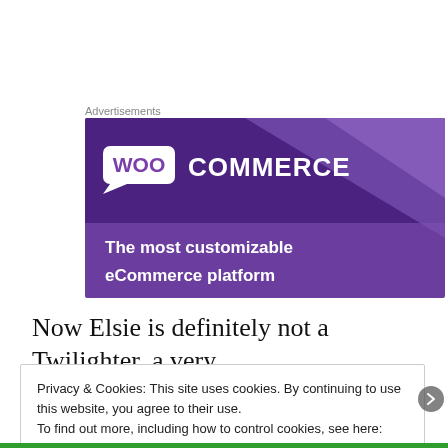Advertisements
[Figure (screenshot): WooCommerce advertisement banner. Purple background with WooCommerce logo (speech-bubble icon with 'WOO' text beside 'COMMERCE' in white). Tagline: 'The most customizable eCommerce platform']
Now Elsie is definitely not a Twilighter, a very
Privacy & Cookies: This site uses cookies. By continuing to use this website, you agree to their use.
To find out more, including how to control cookies, see here:
Cookie Policy
Close and accept